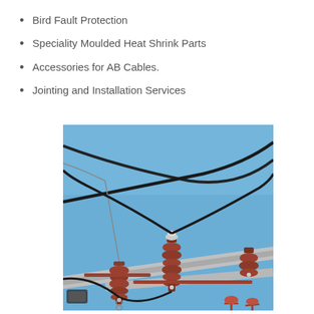Bird Fault Protection
Speciality Moulded Heat Shrink Parts
Accessories for AB Cables.
Jointing and Installation Services
[Figure (photo): Close-up photograph of high-voltage electrical power line insulators and conductors mounted on a crossarm, viewed from below against a clear blue sky. Red/brown ceramic insulators are visible along with black cables and metal hardware.]